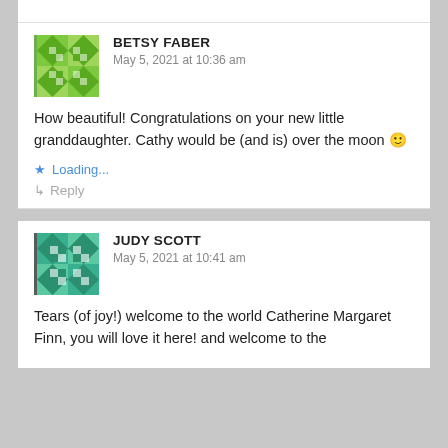BETSY FABER
May 5, 2021 at 10:36 am
How beautiful! Congratulations on your new little granddaughter. Cathy would be (and is) over the moon 🙂
Loading...
Reply
JUDY SCOTT
May 5, 2021 at 10:41 am
Tears (of joy!) welcome to the world Catherine Margaret Finn, you will love it here! and welcome to the